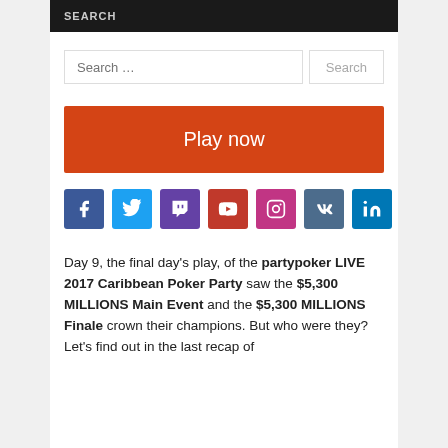SEARCH
Search … [input] Search [button]
[Figure (other): Play now button (orange)]
[Figure (other): Social media icons row: Facebook, Twitter, Twitch, YouTube, Instagram, VK, LinkedIn]
Day 9, the final day's play, of the partypoker LIVE 2017 Caribbean Poker Party saw the $5,300 MILLIONS Main Event and the $5,300 MILLIONS Finale crown their champions. But who were they? Let's find out in the last recap of